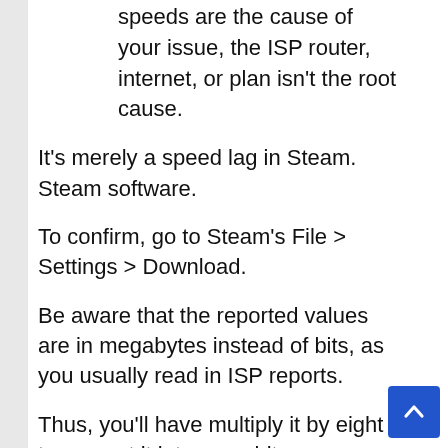speeds are the cause of your issue, the ISP router, internet, or plan isn't the root cause.
It's merely a speed lag in Steam. Steam software.
To confirm, go to Steam's File > Settings > Download.
Be aware that the reported values are in megabytes instead of bits, as you usually read in ISP reports.
Thus, you'll have multiply it by eight to convert it into megabits.
Then, you can compare your results to those from the speed test for internet speeds or with